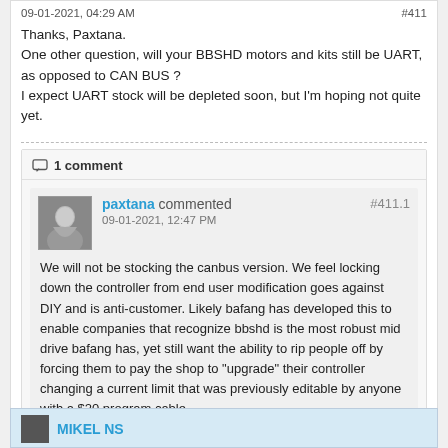09-01-2021, 04:29 AM	#411
Thanks, Paxtana.
One other question, will your BBSHD motors and kits still be UART, as opposed to CAN BUS ?
I expect UART stock will be depleted soon, but I'm hoping not quite yet.
1 comment
paxtana commented
09-01-2021, 12:47 PM
#411.1
We will not be stocking the canbus version. We feel locking down the controller from end user modification goes against DIY and is anti-customer. Likely bafang has developed this to enable companies that recognize bbshd is the most robust mid drive bafang has, yet still want the ability to rip people off by forcing them to pay the shop to "upgrade" their controller changing a current limit that was previously editable by anyone with a $20 program cable.

If in the unlikely event bafang were to discontinue the normal version I suppose that is their choice to make, in any case we have alternatives lined up.
MIKEL NS